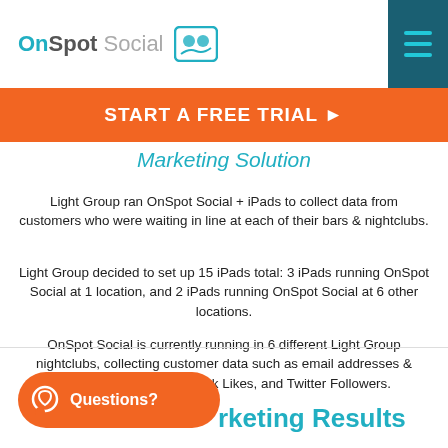OnSpot Social
START A FREE TRIAL >
Marketing Solution
Light Group ran OnSpot Social + iPads to collect data from customers who were waiting in line at each of their bars & nightclubs.
Light Group decided to set up 15 iPads total: 3 iPads running OnSpot Social at 1 location, and 2 iPads running OnSpot Social at 6 other locations.
OnSpot Social is currently running in 6 different Light Group nightclubs, collecting customer data such as email addresses & mobile numbers, Facebook Likes, and Twitter Followers.
rketing Results